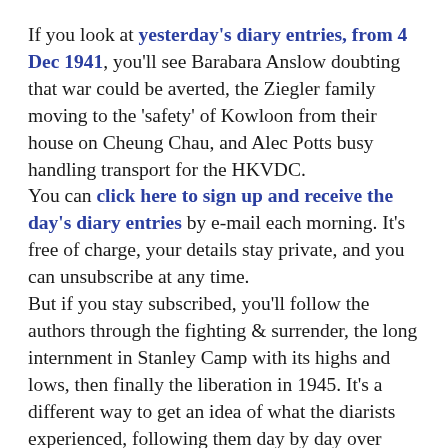If you look at yesterday's diary entries, from 4 Dec 1941, you'll see Barabara Anslow doubting that war could be averted, the Ziegler family moving to the 'safety' of Kowloon from their house on Cheung Chau, and Alec Potts busy handling transport for the HKVDC.
You can click here to sign up and receive the day's diary entries by e-mail each morning. It's free of charge, your details stay private, and you can unsubscribe at any time.
But if you stay subscribed, you'll follow the authors through the fighting & surrender, the long internment in Stanley Camp with its highs and lows, then finally the liberation in 1945. It's a different way to get an idea of what the diarists experienced, following them day by day over several years.